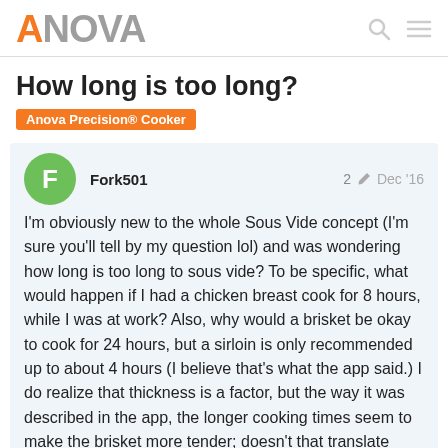ANOVA
How long is too long?
Anova Precision® Cooker
Fork501  2 ✏ Dec '16
I'm obviously new to the whole Sous Vide concept (I'm sure you'll tell by my question lol) and was wondering how long is too long to sous vide? To be specific, what would happen if I had a chicken breast cook for 8 hours, while I was at work? Also, why would a brisket be okay to cook for 24 hours, but a sirloin is only recommended up to about 4 hours (I believe that's what the app said.) I do realize that thickness is a factor, but the way it was described in the app, the longer cooking times seem to make the brisket more tender; doesn't that translate over to the sirloin and the chicken?
It seems like sous vide wouldn't overcook things, per-say, but